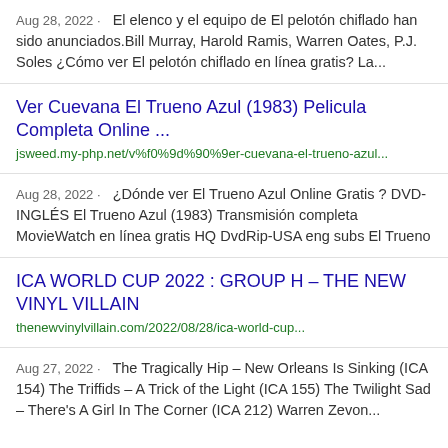Aug 28, 2022 · El elenco y el equipo de El pelotón chiflado han sido anunciados.Bill Murray, Harold Ramis, Warren Oates, P.J. Soles ¿Cómo ver El pelotón chiflado en línea gratis? La...
Ver Cuevana El Trueno Azul (1983) Pelicula Completa Online ...
jsweed.my-php.net/v%f0%9d%90%9er-cuevana-el-trueno-azul...
Aug 28, 2022 · ¿Dónde ver El Trueno Azul Online Gratis ? DVD-INGLÉS El Trueno Azul (1983) Transmisión completa MovieWatch en línea gratis HQ DvdRip-USA eng subs El Trueno
ICA WORLD CUP 2022 : GROUP H – THE NEW VINYL VILLAIN
thenewvinylvillain.com/2022/08/28/ica-world-cup...
Aug 27, 2022 · The Tragically Hip – New Orleans Is Sinking (ICA 154) The Triffids – A Trick of the Light (ICA 155) The Twilight Sad – There's A Girl In The Corner (ICA 212) Warren Zevon...